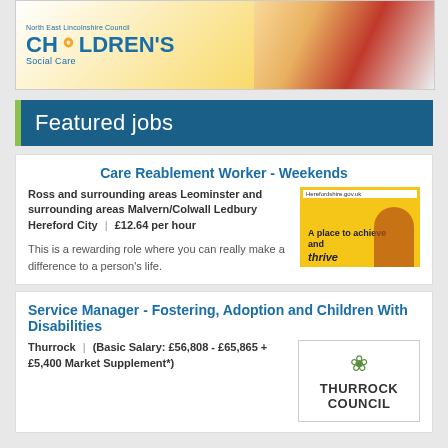[Figure (logo): North East Lincolnshire Council Children's Social Care banner with logo and photo of children]
Featured jobs
Care Reablement Worker - Weekends
Ross and surrounding areas Leominster and surrounding areas Malvern/Colwall Ledbury Hereford City | £12.64 per hour
[Figure (logo): Herefordshire Council logo - yellow background with 'A place to achieve and thrive' text]
This is a rewarding role where you can really make a difference to a person's life.
Service Manager - Fostering, Adoption and Children With Disabilities
Thurrock | (Basic Salary: £56,808 - £65,865 + £5,400 Market Supplement*)
[Figure (logo): Thurrock Council logo with green leaf emblem]